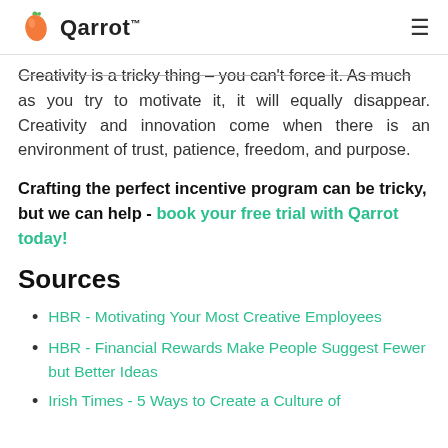Qarrot
Creativity is a tricky thing – you can't force it. As much as you try to motivate it, it will equally disappear. Creativity and innovation come when there is an environment of trust, patience, freedom, and purpose.
Crafting the perfect incentive program can be tricky, but we can help - book your free trial with Qarrot today!
Sources
HBR - Motivating Your Most Creative Employees
HBR - Financial Rewards Make People Suggest Fewer but Better Ideas
Irish Times - 5 Ways to Create a Culture of